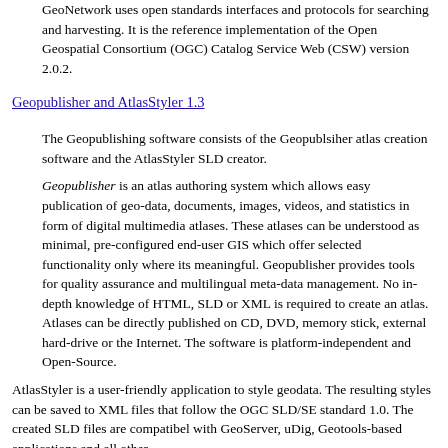GeoNetwork uses open standards interfaces and protocols for searching and harvesting. It is the reference implementation of the Open Geospatial Consortium (OGC) Catalog Service Web (CSW) version 2.0.2.
Geopublisher and AtlasStyler 1.3
The Geopublishing software consists of the Geopublsiher atlas creation software and the AtlasStyler SLD creator.
Geopublisher is an atlas authoring system which allows easy publication of geo-data, documents, images, videos, and statistics in form of digital multimedia atlases. These atlases can be understood as minimal, pre-configured end-user GIS which offer selected functionality only where its meaningful. Geopublisher provides tools for quality assurance and multilingual meta-data management. No in-depth knowledge of HTML, SLD or XML is required to create an atlas. Atlases can be directly published on CD, DVD, memory stick, external hard-drive or the Internet. The software is platform-independent and Open-Source.
AtlasStyler is a user-friendly application to style geodata. The resulting styles can be saved to XML files that follow the OGC SLD/SE standard 1.0. The created SLD files are compatibel with GeoServer, uDig, Geotools-based applications and all other